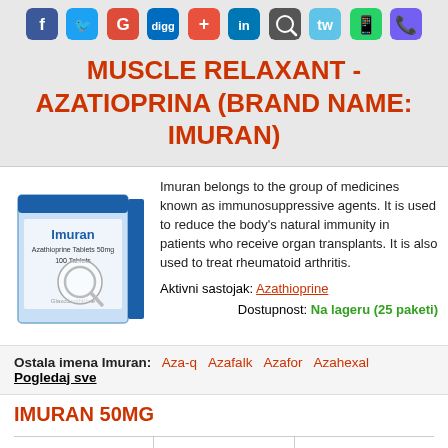[Figure (other): Social media sharing icons bar: Facebook, Twitter, Google+, Digg, AddThis, LinkedIn, Pinterest, Twitter(Twoo), WhatsApp, Viber]
MUSCLE RELAXANT - AZATIOPRINA (BRAND NAME: IMURAN)
[Figure (photo): Photo of Imuran (Azathioprine Tablets 50mg) 100 Tablets box by GlaxoSmithKline, with a magnifying glass overlay]
Imuran belongs to the group of medicines known as immunosuppressive agents. It is used to reduce the body's natural immunity in patients who receive organ transplants. It is also used to treat rheumatoid arthritis.
Aktivni sastojak: Azathioprine
Dostupnost: Na lageru (25 paketi)
Ostala imena Imuran: Aza-q  Azafalk  Azafor  Azahexal  Pogledaj sve
IMURAN 50MG